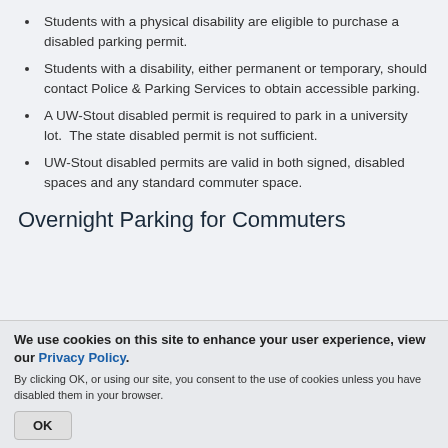Students with a physical disability are eligible to purchase a disabled parking permit.
Students with a disability, either permanent or temporary, should contact Police & Parking Services to obtain accessible parking.
A UW-Stout disabled permit is required to park in a university lot.  The state disabled permit is not sufficient.
UW-Stout disabled permits are valid in both signed, disabled spaces and any standard commuter space.
Overnight Parking for Commuters
We use cookies on this site to enhance your user experience, view our Privacy Policy.
By clicking OK, or using our site, you consent to the use of cookies unless you have disabled them in your browser.